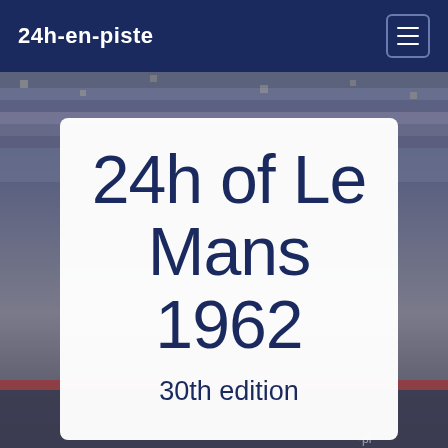24h-en-piste
[Figure (photo): Background photograph of Le Mans race track with grandstands full of spectators, blurred/vintage photo taken from track level]
24h of Le Mans 1962
30th edition